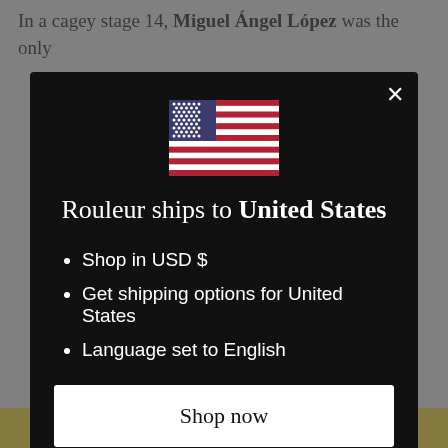In a cagey stage 14, Miguel Ángel López was the only
[Figure (screenshot): Modal dialog on a website (Rouleur) showing a US flag, heading 'Rouleur ships to United States', bullet points about shopping in USD, shipping options, and language, a 'Shop now' button, and a 'Change shipping country and language' link.]
Rouleur ships to United States
Shop in USD $
Get shipping options for United States
Language set to English
Shop now
Change shipping country and language